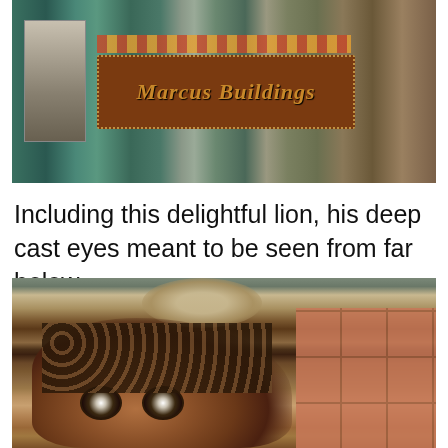[Figure (photo): Close-up photo of an ornate building sign reading 'Marcus Buildings' in Gothic lettering on a dark wooden background with decorative dotted border, surrounded by architectural elements in teal and terracotta colors.]
Including this delightful lion, his deep cast eyes meant to be seen from far below...
[Figure (photo): Close-up photograph of a terracotta lion's head architectural ornament with deeply cast eyes, surrounded by decorative terracotta tiles with floral patterns. Another sculptural figure (possibly a bird) is visible in the upper portion.]